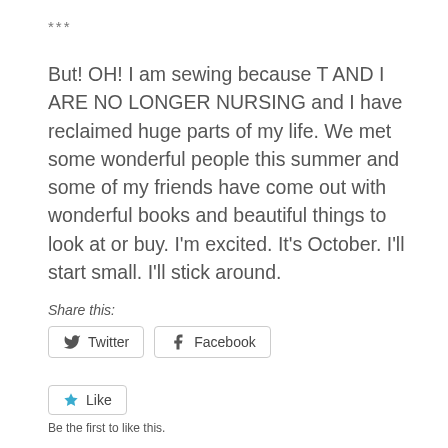***
But! OH! I am sewing because T AND I ARE NO LONGER NURSING and I have reclaimed huge parts of my life. We met some wonderful people this summer and some of my friends have come out with wonderful books and beautiful things to look at or buy. I'm excited. It's October. I'll start small. I'll stick around.
Share this:
Twitter  Facebook
Like
Be the first to like this.